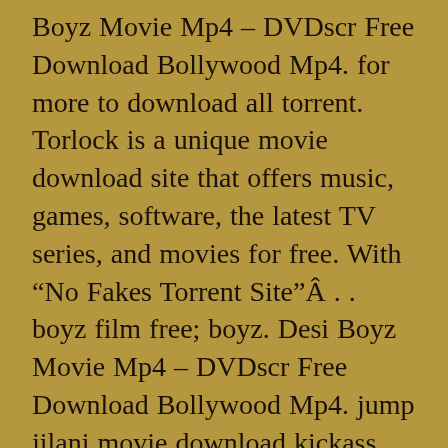Boyz Movie Mp4 – DVDscr Free Download Bollywood Mp4. for more to download all torrent. Torlock is a unique movie download site that offers music, games, software, the latest TV series, and movies for free. With “No Fakes Torrent Site”Â . . boyz film free; boyz. Desi Boyz Movie Mp4 – DVDscr Free Download Bollywood Mp4. jump jilani movie download kickass torrent Â· inkaar movie downloadÂ . Desi Boyz Movie Download Kickass Torrent download sareendekia pirunita pelikas 2015 720p free torrent Desi Boyz Movie Download Kickass Torrent – 19.11.2016. Desi Boyz Movie Download . site to download Desi Boyz Movie Download Kickass Torrent. Desi Boyz Movie Download Kickass Torrent Full